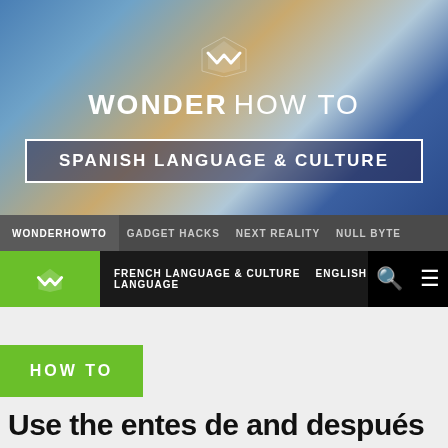[Figure (screenshot): Wonder How To website header banner with gradient background in blues and oranges, W logo, WONDER HOW TO brand text, and SPANISH LANGUAGE & CULTURE box]
WONDERHOWTO  GADGET HACKS  NEXT REALITY  NULL BYTE
FRENCH LANGUAGE & CULTURE  ENGLISH LANGUAGE
HOW TO
Use the entes de and después